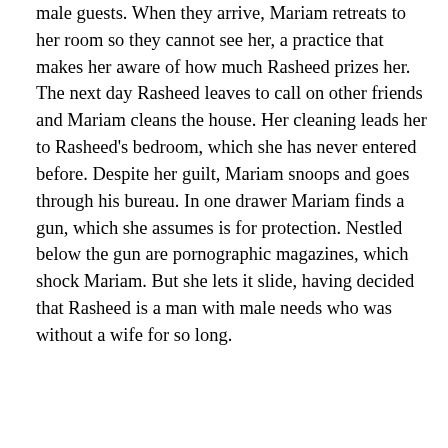male guests. When they arrive, Mariam retreats to her room so they cannot see her, a practice that makes her aware of how much Rasheed prizes her. The next day Rasheed leaves to call on other friends and Mariam cleans the house. Her cleaning leads her to Rasheed's bedroom, which she has never entered before. Despite her guilt, Mariam snoops and goes through his bureau. In one drawer Mariam finds a gun, which she assumes is for protection. Nestled below the gun are pornographic magazines, which shock Mariam. But she lets it slide, having decided that Rasheed is a man with male needs who was without a wife for so long.